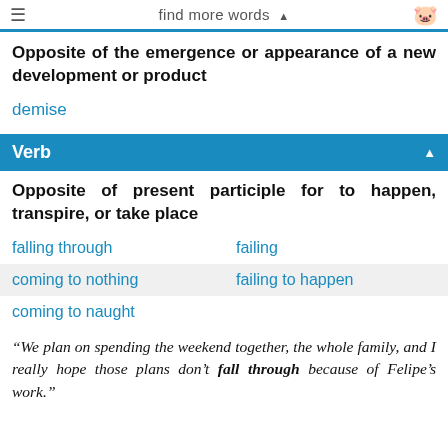find more words ▲
Opposite of the emergence or appearance of a new development or product
demise
Verb
Opposite of present participle for to happen, transpire, or take place
falling through
failing
coming to nothing
failing to happen
coming to naught
“We plan on spending the weekend together, the whole family, and I really hope those plans don’t fall through because of Felipe’s work.”